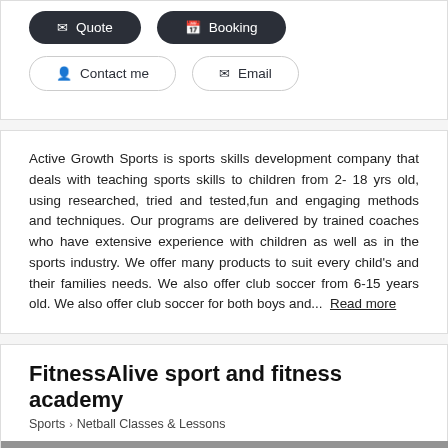[Figure (other): Quote button (dark pill) and Booking button (dark pill) in a row]
[Figure (other): Contact me button (light pill) and Email button (light pill) in a row]
Active Growth Sports is sports skills development company that deals with teaching sports skills to children from 2- 18 yrs old, using researched, tried and tested,fun and engaging methods and techniques. Our programs are delivered by trained coaches who have extensive experience with children as well as in the sports industry. We offer many products to suit every child's and their families needs. We also offer club soccer from 6-15 years old. We also offer club soccer for both boys and...  Read more
FitnessAlive sport and fitness academy
Sports > Netball Classes & Lessons
[Figure (photo): Photo of people posing with a large tractor tire in a gym or industrial setting, wearing black shirts]